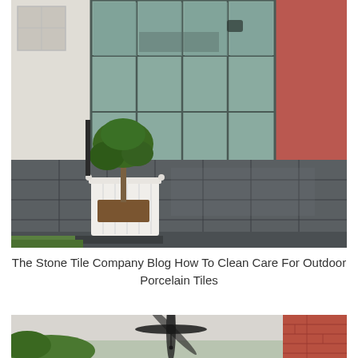[Figure (photo): Outdoor patio with large dark grey porcelain tiles, a white planter box with a small tree, and large glass sliding doors of a house in the background.]
The Stone Tile Company Blog How To Clean Care For Outdoor Porcelain Tiles
[Figure (photo): Covered outdoor patio/pergola area with a ceiling fan visible, brick wall on right side, and greenery in the background.]